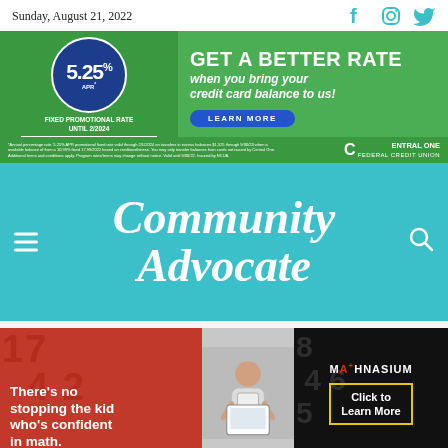Sunday, August 21, 2022
[Figure (infographic): Central One Federal Credit Union advertisement: 5.25% APR Fixed Promotional Rate Until 2/2024, No Balance Transfer Fee and No Annual Fee. GET A BETTER RATE when you bring your credit card balance to us! LEARN MORE button.]
Community Advocate
[Figure (infographic): Mathnasium advertisement: There's no stopping the kid who's confident in math. Photo of student with tablet. Mathnasium logo. Click to Learn More button.]